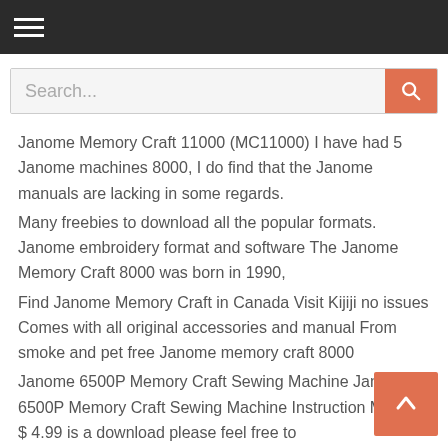[hamburger menu icon] [Search... input] [search button]
Janome Memory Craft 11000 (MC11000) I have had 5 Janome machines 8000, I do find that the Janome manuals are lacking in some regards.
Many freebies to download all the popular formats. Janome embroidery format and software The Janome Memory Craft 8000 was born in 1990,
Find Janome Memory Craft in Canada Visit Kijiji no issues Comes with all original accessories and manual From smoke and pet free Janome memory craft 8000
Janome 6500P Memory Craft Sewing Machine Janome 6500P Memory Craft Sewing Machine Instruction Manual $ 4.99 is a download please feel free to
Janome Memory Craft 3500: Download File: Sewing Machine